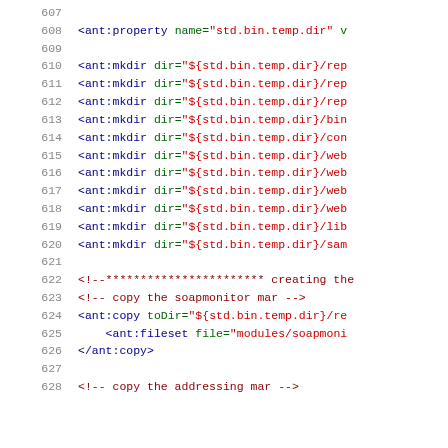[Figure (screenshot): Source code listing (XML/Ant build file) showing line numbers 607-628 with syntax-highlighted XML tags and comments in blue, green, and red on white background.]